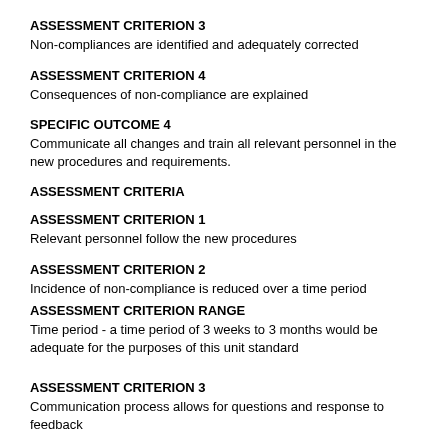ASSESSMENT CRITERION 3
Non-compliances are identified and adequately corrected
ASSESSMENT CRITERION 4
Consequences of non-compliance are explained
SPECIFIC OUTCOME 4
Communicate all changes and train all relevant personnel in the new procedures and requirements.
ASSESSMENT CRITERIA
ASSESSMENT CRITERION 1
Relevant personnel follow the new procedures
ASSESSMENT CRITERION 2
Incidence of non-compliance is reduced over a time period
ASSESSMENT CRITERION RANGE
Time period - a time period of 3 weeks to 3 months would be adequate for the purposes of this unit standard
ASSESSMENT CRITERION 3
Communication process allows for questions and response to feedback